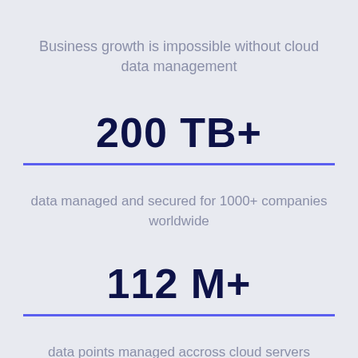Business growth is impossible without cloud data management
200 TB+
data managed and secured for 1000+ companies worldwide
112 M+
data points managed accross cloud servers worldwide